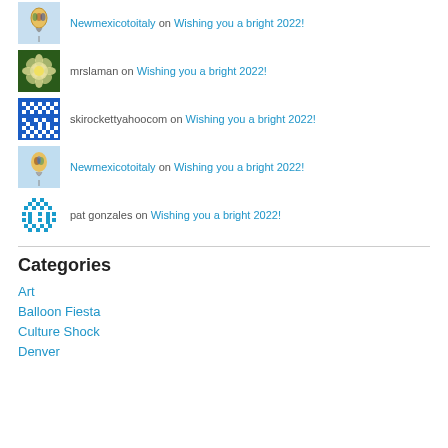Newmexicotoitaly on Wishing you a bright 2022!
mrslaman on Wishing you a bright 2022!
skirockettyahoocom on Wishing you a bright 2022!
Newmexicotoitaly on Wishing you a bright 2022!
pat gonzales on Wishing you a bright 2022!
Categories
Art
Balloon Fiesta
Culture Shock
Denver